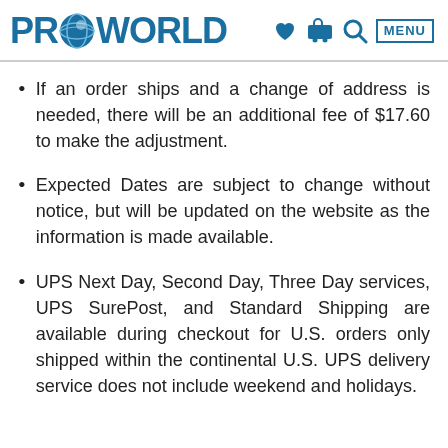PRO WORLD
If an order ships and a change of address is needed, there will be an additional fee of $17.60 to make the adjustment.
Expected Dates are subject to change without notice, but will be updated on the website as the information is made available.
UPS Next Day, Second Day, Three Day services, UPS SurePost, and Standard Shipping are available during checkout for U.S. orders only shipped within the continental U.S. UPS delivery service does not include weekend and holidays.